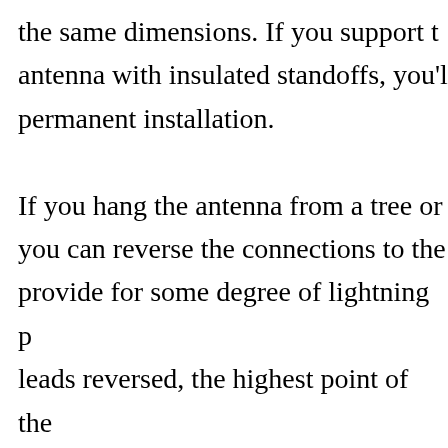the same dimensions. If you support the antenna with insulated standoffs, you'll permanent installation. If you hang the antenna from a tree or you can reverse the connections to the provide for some degree of lightning p leads reversed, the highest point of the connected to the coaxial cable's shield grounded at or near the equipment. An